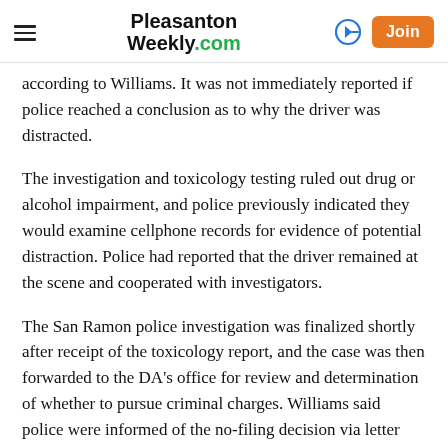Pleasanton Weekly.com
according to Williams. It was not immediately reported if police reached a conclusion as to why the driver was distracted.
The investigation and toxicology testing ruled out drug or alcohol impairment, and police previously indicated they would examine cellphone records for evidence of potential distraction. Police had reported that the driver remained at the scene and cooperated with investigators.
The San Ramon police investigation was finalized shortly after receipt of the toxicology report, and the case was then forwarded to the DA's office for review and determination of whether to pursue criminal charges. Williams said police were informed of the no-filing decision via letter dated Monday